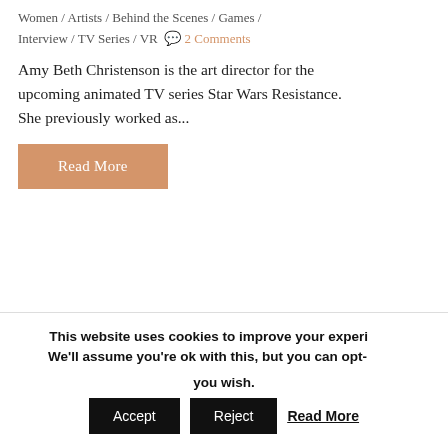Women / Artists / Behind the Scenes / Games / Interview / TV Series / VR 💬 2 Comments
Amy Beth Christenson is the art director for the upcoming animated TV series Star Wars Resistance. She previously worked as...
Read More
This website uses cookies to improve your experience. We'll assume you're ok with this, but you can opt-out if you wish.
Accept | Reject | Read More